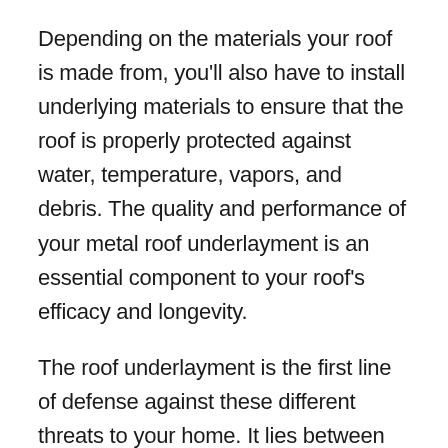Depending on the materials your roof is made from, you'll also have to install underlying materials to ensure that the roof is properly protected against water, temperature, vapors, and debris. The quality and performance of your metal roof underlayment is an essential component to your roof's efficacy and longevity.
The roof underlayment is the first line of defense against these different threats to your home. It lies between the covering materials and the roof deck. Besides shielding your home from weathering, it also helps give the roof its even and consistent shape, and protects the roof covering from…